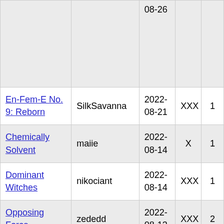| Title | Author | Date | Rating | # |
| --- | --- | --- | --- | --- |
| (partial — 08-26) |  | 08-26 |  |  |
| En-Fem-E No. 9: Reborn | SilkSavanna | 2022-08-21 | XXX | 1 |
| Chemically Solvent | maiie | 2022-08-14 | X | 1 |
| Dominant Witches | nikociant | 2022-08-14 | XXX | 1 |
| Opposing Force | zededd | 2022-08-13 | XXX | 2 |